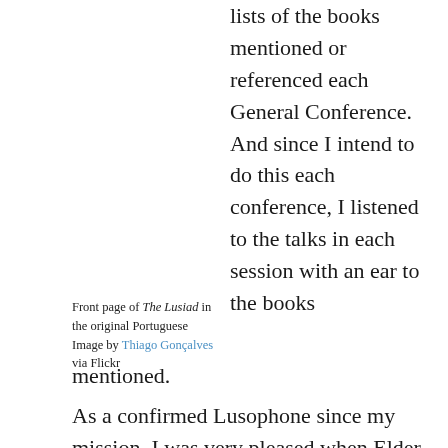lists of the books mentioned or referenced each General Conference. And since I intend to do this each conference, I listened to the talks in each session with an ear to the books mentioned.
Front page of The Lusiad in the original Portuguese Image by Thiago Gonçalves via Flickr
As a confirmed Lusophone since my mission, I was very pleased when Elder José A. Teixeira